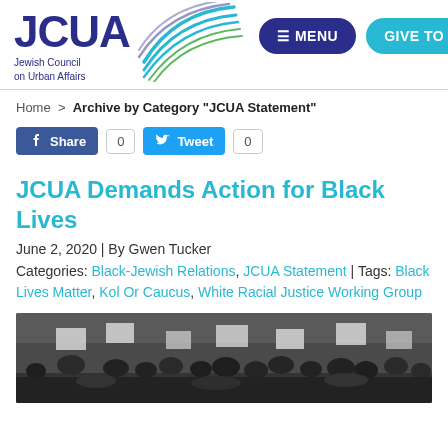[Figure (logo): JCUA (Jewish Council on Urban Affairs) logo with blue swoosh graphic]
≡ MENU
GIVE TO JCUA
Home > Archive by Category "JCUA Statement"
Share 0  Tweet 0
JCUA Demands Action for Black Lives
June 2, 2020 | By Gwen Tucker
Categories: Black-Jewish Relations, JCUA Statement | Tags: Black Lives Matter, Kol Or Caucus, White Racial Justice Working Group
[Figure (photo): Crowd of protesters at a rally holding signs, photographed outdoors]